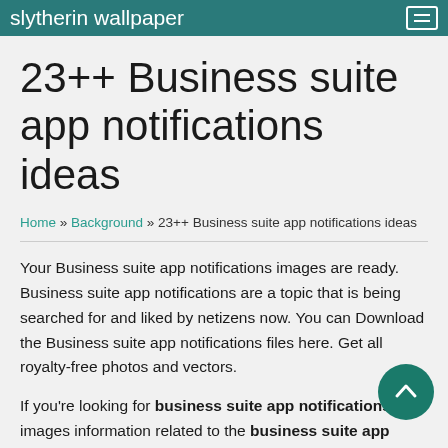slytherin wallpaper
23++ Business suite app notifications ideas
Home » Background » 23++ Business suite app notifications ideas
Your Business suite app notifications images are ready. Business suite app notifications are a topic that is being searched for and liked by netizens now. You can Download the Business suite app notifications files here. Get all royalty-free photos and vectors.
If you're looking for business suite app notifications images information related to the business suite app notifications keyword, you have come to the ideal bl… Our site frequently gives you hints for downloading the hi…